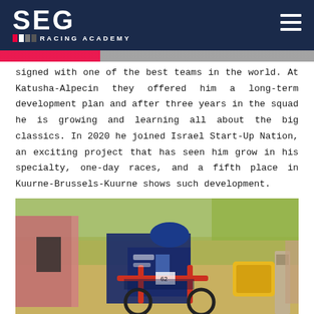SEG RACING ACADEMY
signed with one of the best teams in the world. At Katusha-Alpecin they offered him a long-term development plan and after three years in the squad he is growing and learning all about the big classics. In 2020 he joined Israel Start-Up Nation, an exciting project that has seen him grow in his specialty, one-day races, and a fifth place in Kuurne-Brussels-Kuurne shows such development.
[Figure (photo): Cyclist in blue and white team kit racing on a road bicycle, with spectators in the background and a yellow bag visible on the right side of the image.]